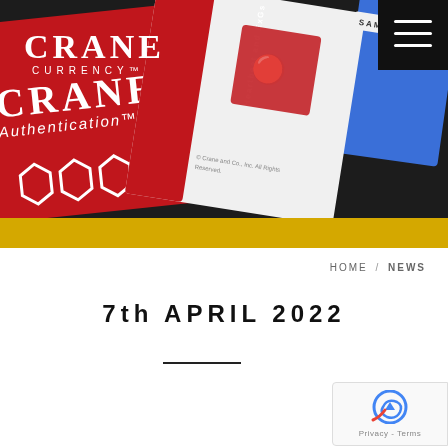[Figure (photo): Crane Currency website header image showing red and white brochures/cards with 'Crane Authentication' text and security features, on dark background, with gold bar at bottom. Crane Currency logo in top-left corner, hamburger menu icon in top-right corner.]
CRANE CURRENCY
HOME / NEWS
7th APRIL 2022